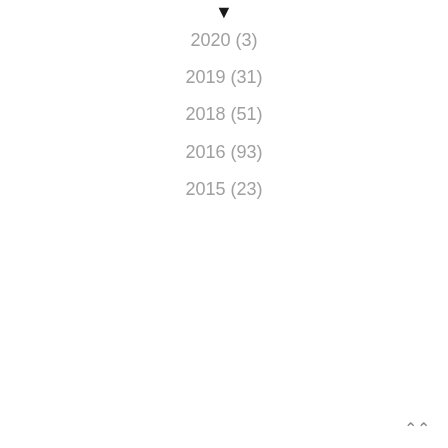2020 (3)
2019 (31)
2018 (51)
2016 (93)
2015 (23)